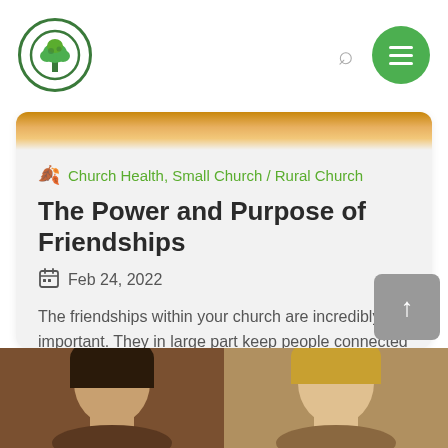[Figure (logo): Church logo: circular green border with tree/plant icon inside]
Church Health, Small Church / Rural Church
The Power and Purpose of Friendships
Feb 24, 2022
The friendships within your church are incredibly important. They in large part keep people connected to the church....
Read More
[Figure (photo): Partial photo strip showing people's faces at the bottom of the page]